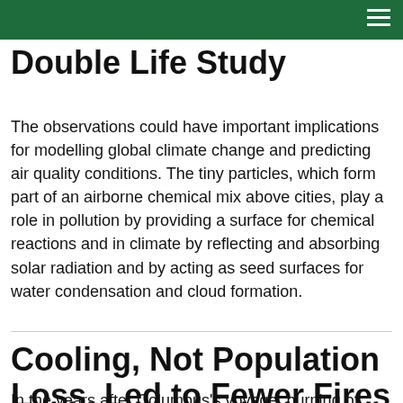Double Life Study
The observations could have important implications for modelling global climate change and predicting air quality conditions. The tiny particles, which form part of an airborne chemical mix above cities, play a role in pollution by providing a surface for chemical reactions and in climate by reflecting and absorbing solar radiation and by acting as seed surfaces for water condensation and cloud formation.
Cooling, Not Population Loss, Led to Fewer Fires After 1500 in New World
In the years after Columbus's voyage, burning of